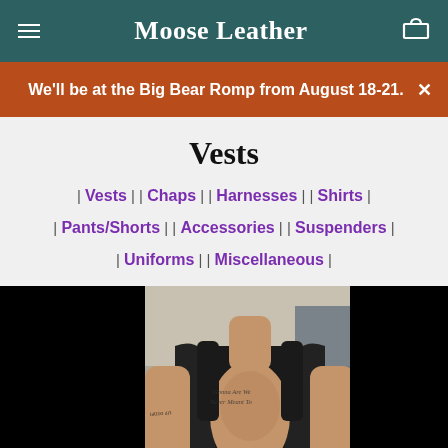Moose Leather
We'll be at the Big Bear Romp from August 18-21.
Vests
| Vests | | Chaps | | Harnesses | | Shirts | | Pants/Shorts | | Accessories | | Suspenders | | Uniforms | | Miscellaneous |
[Figure (photo): A person wearing a black leather vest, visible from neck to waist, with tattoos on the arm. The photo is centered with black bars on the left and right sides.]